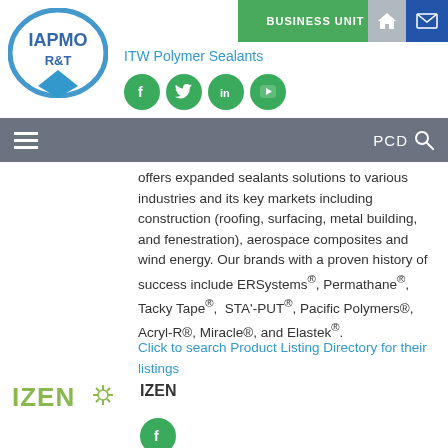IAPMO R&T | ITW Polymer Sealants | BUSINESS UNIT
offers expanded sealants solutions to various industries and its key markets including construction (roofing, surfacing, metal building, and fenestration), aerospace composites and wind energy. Our brands with a proven history of success include ERSystems®, Permathane®, Tacky Tape®, STA'-PUT®, Pacific Polymers®, Acryl-R®, Miracle®, and Elastek®.
Click to search Product Listing Directory for their listings
[Figure (logo): IZEN logo in green with starburst icon]
IZEN